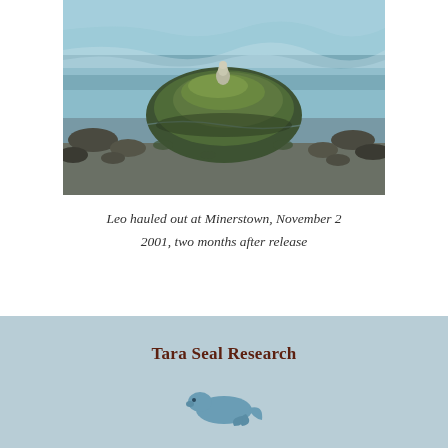[Figure (photo): A seal (or seabird) hauled out on a large green moss-covered rock surrounded by water and smaller rocks, with choppy sea in the background.]
Leo hauled out at Minerstown, November 2 2001, two months after release
Tara Seal Research